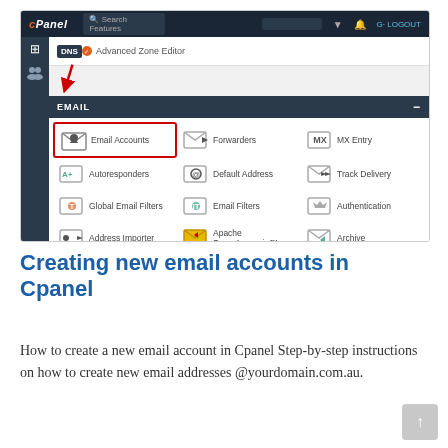[Figure (screenshot): cPanel interface screenshot showing the EMAIL section with icons including Email Accounts (highlighted with red border), Forwarders, MX Entry, Autoresponders, Default Address, Track Delivery, Global Email Filters, Email Filters, Authentication, Address Importer, Apache SpamAssassin, Archive, Encryption, BoxTrapper, Calendars and Contacts. A red arrow points to the Email Accounts option. The cPanel header shows DNS and Advanced Zone Editor above.]
Creating new email accounts in Cpanel
How to create a new email account in Cpanel Step-by-step instructions on how to create new email addresses @yourdomain.com.au.